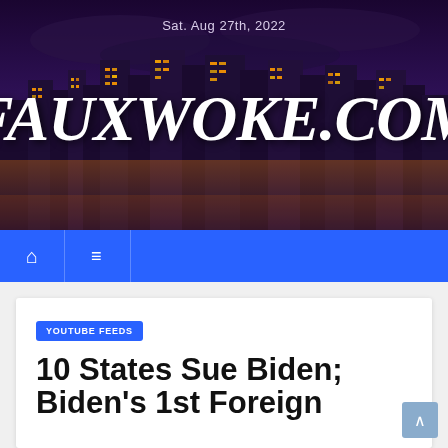[Figure (photo): Website header banner with nighttime cityscape skyline background and purple/dark sky. Large handwritten-style logo text reads FAUXWOKE.COM with date Sat. Aug 27th, 2022 above it.]
Sat. Aug 27th, 2022
FAUXWOKE.COM
Navigation bar with home icon and hamburger menu icon
YOUTUBE FEEDS
10 States Sue Biden; Biden's 1st Foreign